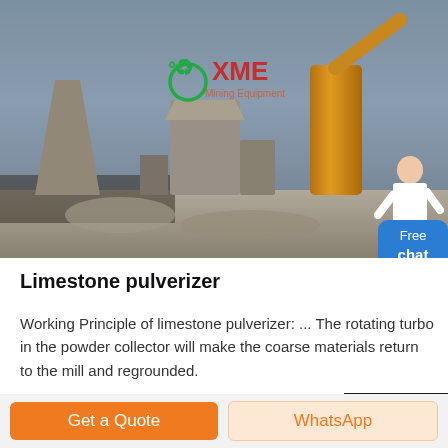[Figure (photo): Industrial limestone pulverizer / mining machinery facility with silos, conveyors, and dust collectors. XME Mining Equipment logo visible. A customer service representative and Free Chat button overlay in bottom-right corner.]
Limestone pulverizer
Working Principle of limestone pulverizer: ... The rotating turbo in the powder collector will make the coarse materials return to the mill and regrounded.
Get a Quote | WhatsApp